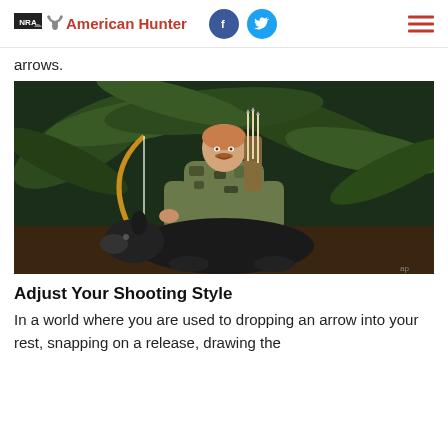NRA American Hunter
arrows.
[Figure (photo): Hunter in camouflage clothing kneeling behind a harvested wild boar, holding a traditional longbow with arrows in a quiver, surrounded by palmetto bushes at night.]
Adjust Your Shooting Style
In a world where you are used to dropping an arrow into your rest, snapping on a release, drawing the